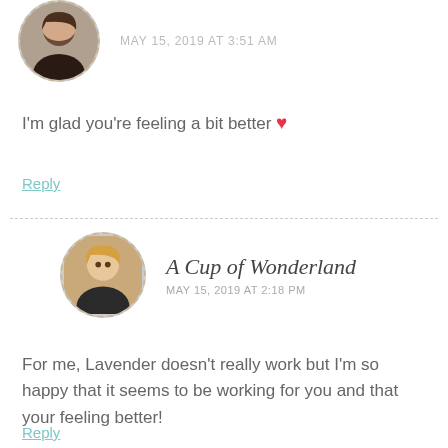annaarans MAY 15, 2019 AT 3:51 AM
I'm glad you're feeling a bit better ❤
Reply
A Cup of Wonderland MAY 15, 2019 AT 2:18 PM
For me, Lavender doesn't really work but I'm so happy that it seems to be working for you and that your feeling better!
Reply